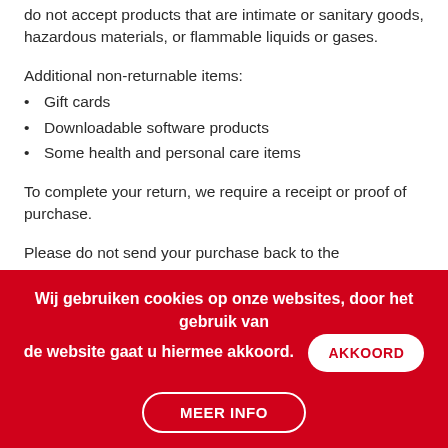do not accept products that are intimate or sanitary goods, hazardous materials, or flammable liquids or gases.
Additional non-returnable items:
Gift cards
Downloadable software products
Some health and personal care items
To complete your return, we require a receipt or proof of purchase.
Please do not send your purchase back to the
Wij gebruiken cookies op onze websites, door het gebruik van de website gaat u hiermee akkoord.
AKKOORD
MEER INFO